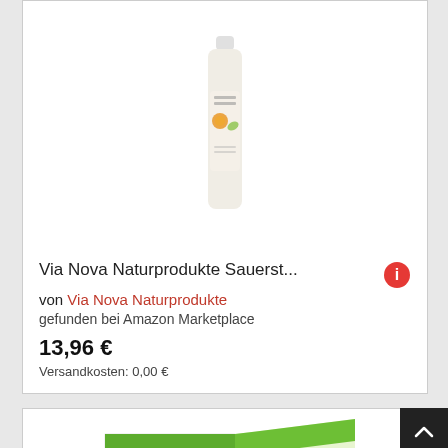[Figure (photo): Product photo of a bottle of Via Nova Naturprodukte Sauerstoff product with white cap and label showing oranges and herbs]
Via Nova Naturprodukte Sauerst...
von Via Nova Naturprodukte
gefunden bei Amazon Marketplace
13,96 €
Versandkosten: 0,00 €
[Figure (photo): Partial product photo of a Sunlife Multivitamin box with green and white packaging]